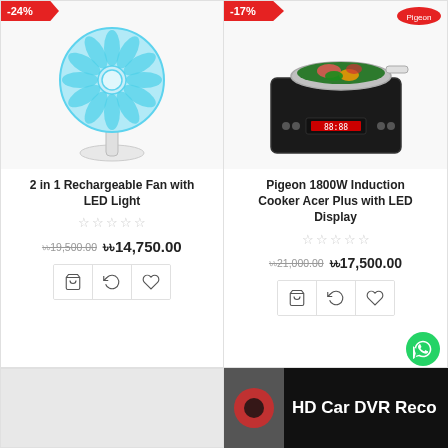[Figure (photo): Blue desk fan (2 in 1 Rechargeable Fan with LED Light) with -24% discount badge]
[Figure (photo): Pigeon induction cooker with pan of vegetables, -17% discount badge, Pigeon logo]
2 in 1 Rechargeable Fan with LED Light
Pigeon 1800W Induction Cooker Acer Plus with LED Display
₨₨19,500.00  ₨₨14,750.00
₨₨21,000.00  ₨₨17,500.00
[Figure (photo): Bottom left product card (partially visible)]
HD Car DVR Reco